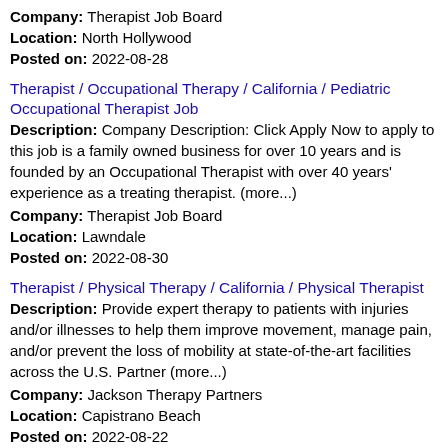Company: Therapist Job Board
Location: North Hollywood
Posted on: 2022-08-28
Therapist / Occupational Therapy / California / Pediatric Occupational Therapist Job
Description: Company Description: Click Apply Now to apply to this job is a family owned business for over 10 years and is founded by an Occupational Therapist with over 40 years' experience as a treating therapist. (more...)
Company: Therapist Job Board
Location: Lawndale
Posted on: 2022-08-30
Therapist / Physical Therapy / California / Physical Therapist
Description: Provide expert therapy to patients with injuries and/or illnesses to help them improve movement, manage pain, and/or prevent the loss of mobility at state-of-the-art facilities across the U.S. Partner (more...)
Company: Jackson Therapy Partners
Location: Capistrano Beach
Posted on: 2022-08-22
Therapist / Occupational Therapy / California / Occupational Therapist (Pool) Job
Description: More one-on-one time br More success for patients